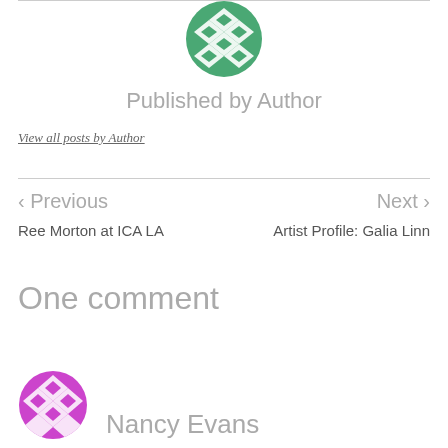[Figure (logo): Green geometric diamond/quilt pattern circular logo for Author]
Published by Author
View all posts by Author
< Previous
Ree Morton at ICA LA
Next >
Artist Profile: Galia Linn
One comment
[Figure (logo): Purple geometric circular logo for commenter Nancy Evans]
Nancy Evans